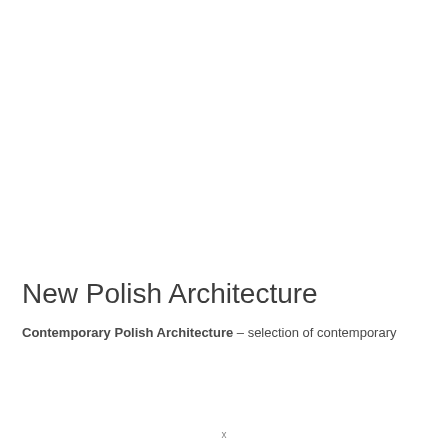New Polish Architecture
Contemporary Polish Architecture – selection of contemporary
x